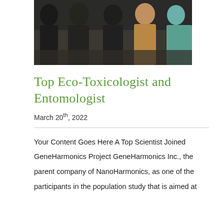[Figure (photo): Group photo of several people standing together, cropped to show lower bodies/torsos, with various colored clothing including a tan/yellow jacket and teal shirt]
Top Eco-Toxicologist and Entomologist
March 20th, 2022
Your Content Goes Here A Top Scientist Joined GeneHarmonics Project GeneHarmonics Inc., the parent company of NanoHarmonics, as one of the participants in the population study that is aimed at